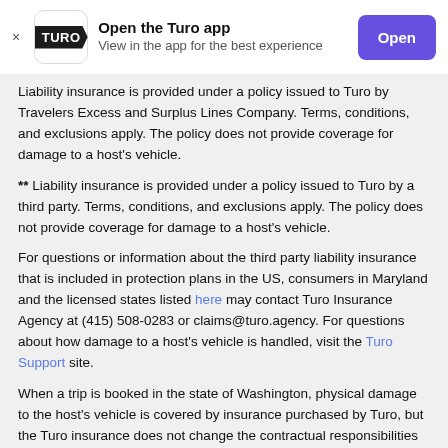[Figure (other): Turo app banner with logo, title 'Open the Turo app', subtitle 'View in the app for the best experience', and an Open button]
Liability insurance is provided under a policy issued to Turo by Travelers Excess and Surplus Lines Company. Terms, conditions, and exclusions apply. The policy does not provide coverage for damage to a host's vehicle.
** Liability insurance is provided under a policy issued to Turo by a third party. Terms, conditions, and exclusions apply. The policy does not provide coverage for damage to a host's vehicle.
For questions or information about the third party liability insurance that is included in protection plans in the US, consumers in Maryland and the licensed states listed here may contact Turo Insurance Agency at (415) 508-0283 or claims@turo.agency. For questions about how damage to a host's vehicle is handled, visit the Turo Support site.
When a trip is booked in the state of Washington, physical damage to the host's vehicle is covered by insurance purchased by Turo, but the Turo insurance does not change the contractual responsibilities of hosts or guests with respect to physical damage to a host's vehicle.
*** Terms, conditions, and exclusions apply.